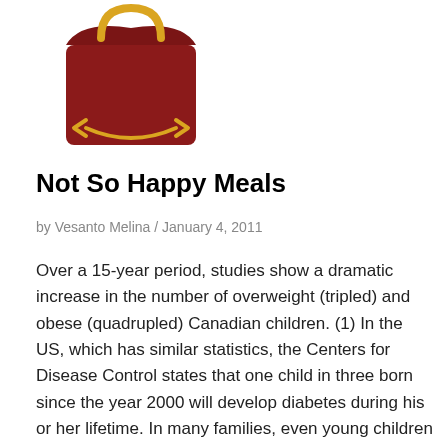[Figure (photo): A red McDonald's Happy Meal box with a golden arch handle on a white background]
Not So Happy Meals
by Vesanto Melina / January 4, 2011
Over a 15-year period, studies show a dramatic increase in the number of overweight (tripled) and obese (quadrupled) Canadian children. (1) In the US, which has similar statistics, the Centers for Disease Control states that one child in three born since the year 2000 will develop diabetes during his or her lifetime. In many families, even young children consume too many calories, too much fat and far too much sodium.... Read More »